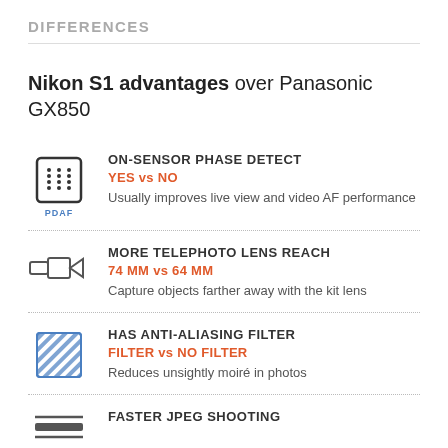DIFFERENCES
Nikon S1 advantages over Panasonic GX850
ON-SENSOR PHASE DETECT
YES vs NO
Usually improves live view and video AF performance
MORE TELEPHOTO LENS REACH
74 MM vs 64 MM
Capture objects farther away with the kit lens
HAS ANTI-ALIASING FILTER
FILTER vs NO FILTER
Reduces unsightly moiré in photos
FASTER JPEG SHOOTING